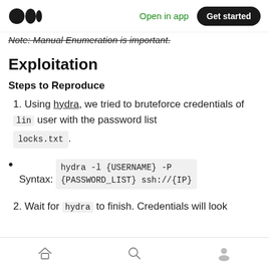Medium logo | Open in app | Get started
Note: Manual Enumeration is important.
Exploitation
Steps to Reproduce
1. Using hydra, we tried to bruteforce credentials of lin user with the password list locks.txt.
Syntax: hydra -l {USERNAME} -P {PASSWORD_LIST} ssh://{IP}
2. Wait for hydra to finish. Credentials will look